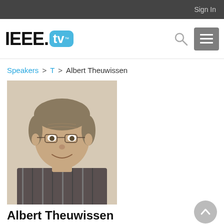Sign In
[Figure (logo): IEEE.tv logo — bold IEEE text followed by a cyan rounded rectangle containing 'tv' in white]
Speakers > T > Albert Theuwissen
[Figure (photo): Headshot photo of Albert Theuwissen, a middle-aged man with gray-brown hair, smiling, wearing a striped shirt]
Albert Theuwissen